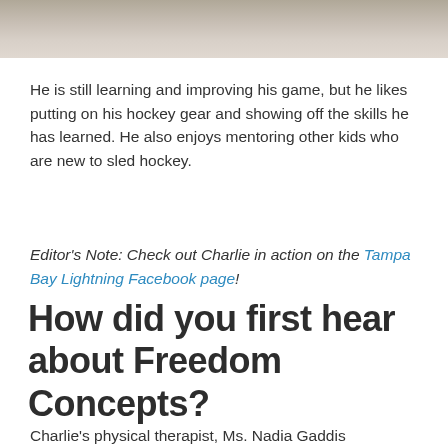[Figure (photo): Top portion of a photo, showing a blurred background, likely a hockey or sports scene.]
He is still learning and improving his game, but he likes putting on his hockey gear and showing off the skills he has learned. He also enjoys mentoring other kids who are new to sled hockey.
Editor's Note: Check out Charlie in action on the Tampa Bay Lightning Facebook page!
How did you first hear about Freedom Concepts?
Charlie's physical therapist, Ms. Nadia Gaddis